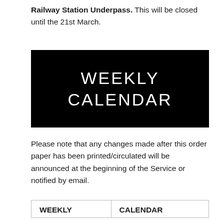Railway Station Underpass. This will be closed until the 21st March.
[Figure (other): Black banner image with white text reading 'WEEKLY CALENDAR' in large uppercase letters]
Please note that any changes made after this order paper has been printed/circulated will be announced at the beginning of the Service or notified by email.
| WEEKLY | CALENDAR |
| --- | --- |